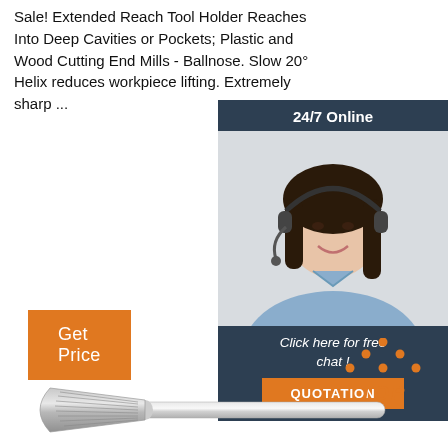Sale! Extended Reach Tool Holder Reaches Into Deep Cavities or Pockets; Plastic and Wood Cutting End Mills - Ballnose. Slow 20° Helix reduces workpiece lifting. Extremely sharp ...
[Figure (other): Orange 'Get Price' button]
[Figure (infographic): 24/7 Online chat widget with photo of woman wearing headset and 'Click here for free chat!' text with orange QUOTATION button]
[Figure (logo): Orange TOP icon with dots above and bold italic text 'TOP']
[Figure (photo): Carbide rotary burr / cutting tool bit - elongated bullet-nose shaped metal cutting bit with shank]